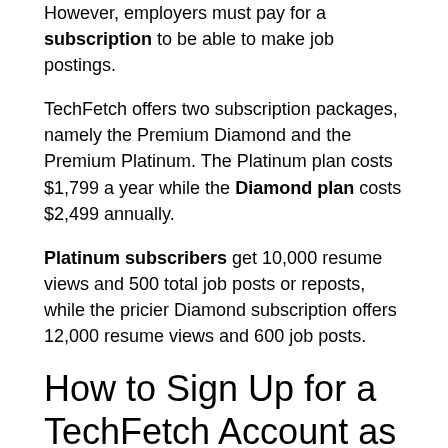However, employers must pay for a subscription to be able to make job postings.
TechFetch offers two subscription packages, namely the Premium Diamond and the Premium Platinum. The Platinum plan costs $1,799 a year while the Diamond plan costs $2,499 annually.
Platinum subscribers get 10,000 resume views and 500 total job posts or reposts, while the pricier Diamond subscription offers 12,000 resume views and 600 job posts.
How to Sign Up for a TechFetch Account as a Job Seeker
In order to maximize your use of the website as a job seeker, you will need to create an account with TechFetch. Its